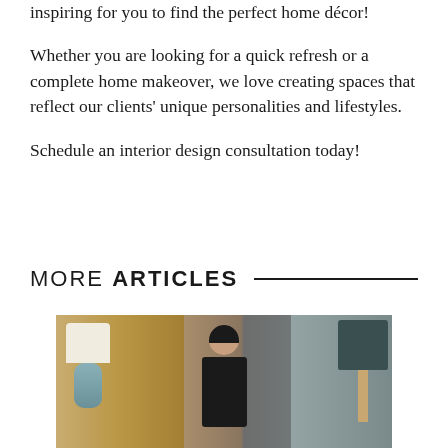inspiring for you to find the perfect home décor!
Whether you are looking for a quick refresh or a complete home makeover, we love creating spaces that reflect our clients' unique personalities and lifestyles.
Schedule an interior design consultation today!
MORE ARTICLES
[Figure (photo): Interior design scene showing a woman with dark hair seated between two lamps — a blue-green ceramic lamp on the left and a dark-shaded gold lamp on the right, with gold curtains in the background.]